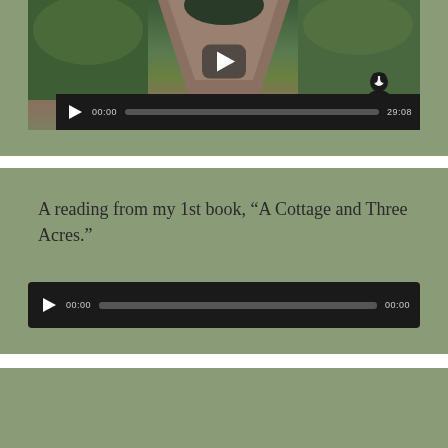[Figure (screenshot): Video player showing a garden path scene with a black and white dog, controls showing 00:00 / 29:08, fullscreen button]
A reading from my 1st book, “A Cottage and Three Acres.”
[Figure (screenshot): Audio player controls showing 00:00 / 00:00 with play button and progress bar]
[Figure (screenshot): Partial view of a third media block with sage green background, content cut off]